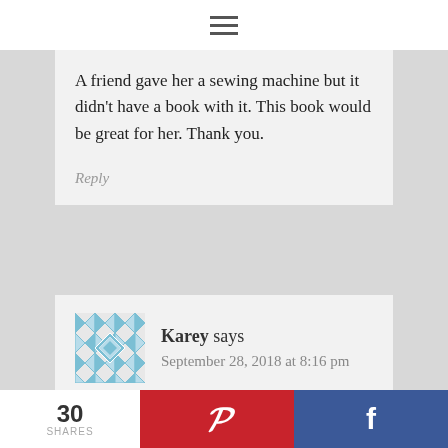≡
A friend gave her a sewing machine but it didn't have a book with it. This book would be great for her. Thank you.
Reply
Karey says
September 28, 2018 at 8:16 pm
This looks like a great reference book to
30 SHARES